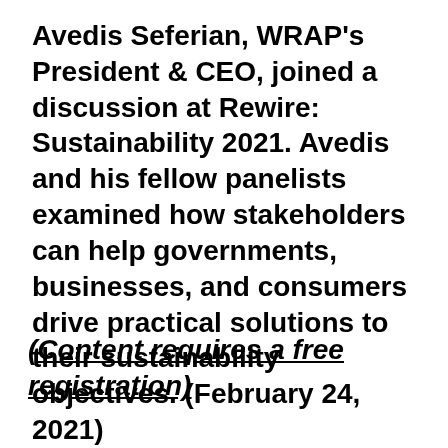Avedis Seferian, WRAP's President & CEO, joined a discussion at Rewire: Sustainability 2021. Avedis and his fellow panelists examined how stakeholders can help governments, businesses, and consumers drive practical solutions to their sustainability objectives. (February 24, 2021)
(Content requires a free registration)